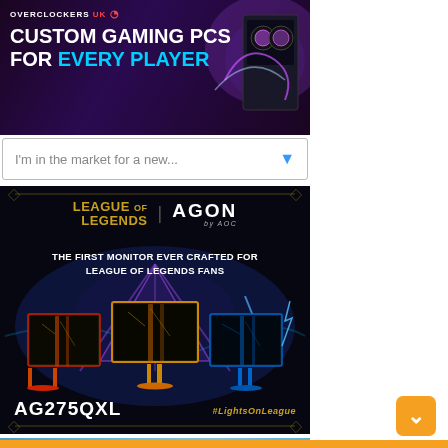[Figure (photo): Overclockers UK banner ad: Custom Gaming PCs For Every Player, showing a gaming PC with RGB lighting]
[Figure (screenshot): Dropdown selector: I'm in the market for a new...]
[Figure (photo): League of Legends AGON by AOC monitor ad: AG275QXL, The First Monitor Ever Crafted For League Of Legends Fans, #LightsOnLeague]
[Figure (photo): MSI Get Your Keys banner ad featuring Steam card, keyboard, and robotic hand]